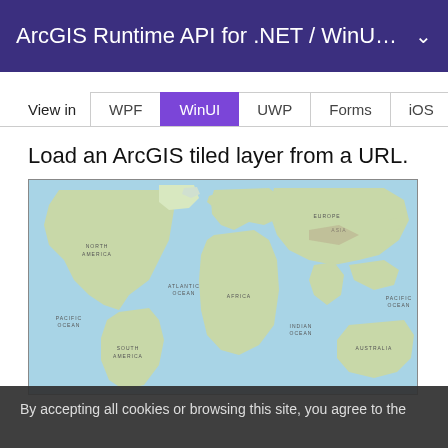ArcGIS Runtime API for .NET / WinU…
View in  WPF  WinUI  UWP  Forms  iOS  Android
Load an ArcGIS tiled layer from a URL.
[Figure (map): World map showing continents including North America, South America, Europe, Asia, Africa, Australia, and oceans (Pacific Ocean, Atlantic Ocean, Indian Ocean) rendered as an ArcGIS tiled layer.]
By accepting all cookies or browsing this site, you agree to the